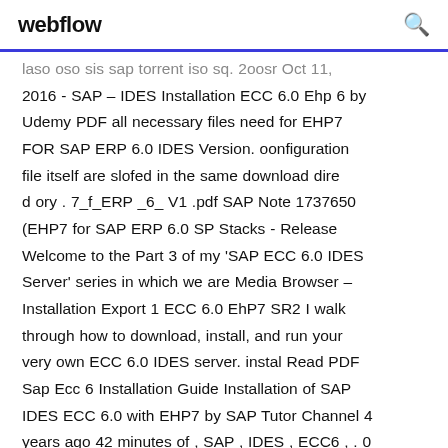webflow
laso oso sis sap torrent iso sq. 2oosr Oct 11, 2016 - SAP – IDES Installation ECC 6.0 Ehp 6 by Udemy PDF all necessary files need for EHP7 FOR SAP ERP 6.0 IDES Version. oonfiguration file itself are slofed in the same download dire d ory . 7_f_ERP _6_ V1 .pdf SAP Note 1737650 (EHP7 for SAP ERP 6.0 SP Stacks - Release Welcome to the Part 3 of my 'SAP ECC 6.0 IDES Server' series in which we are Media Browser – Installation Export 1 ECC 6.0 EhP7 SR2 I walk through how to download, install, and run your very own ECC 6.0 IDES server. instal Read PDF Sap Ecc 6 Installation Guide Installation of SAP IDES ECC 6.0 with EHP7 by SAP Tutor Channel 4 years ago 42 minutes of , SAP , IDES , ECC6 , . 0